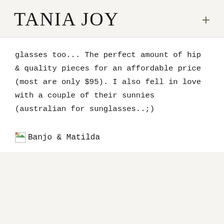TANIA JOY
glasses too... The perfect amount of hip & quality pieces for an affordable price (most are only $95). I also fell in love with a couple of their sunnies (australian for sunglasses..;)
[Figure (illustration): Broken image placeholder icon followed by text 'Banjo & Matilda']